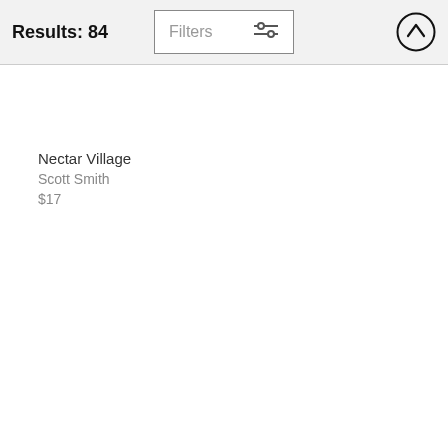Results: 84
Nectar Village
Scott Smith
$17